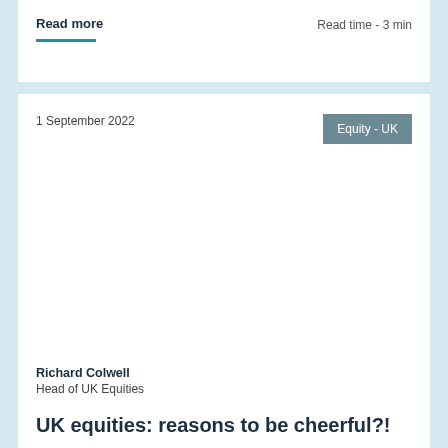Read more
Read time - 3 min
1 September 2022
Equity - UK
[Figure (photo): Empty white image placeholder area]
Richard Colwell
Head of UK Equities
UK equities: reasons to be cheerful?!